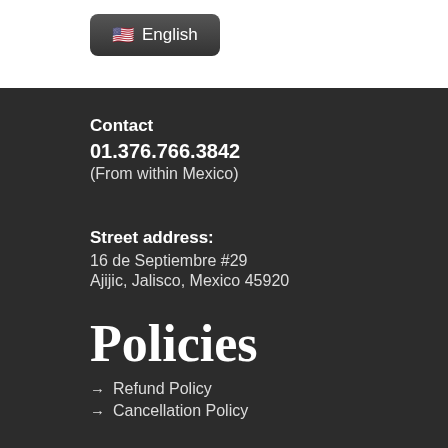[Figure (screenshot): Language selector button showing US flag emoji and 'English' text on dark rounded rectangle background]
Contact
01.376.766.3842
(From within Mexico)
Street address:
16 de Septiembre #29
Ajijic, Jalisco, Mexico 45920
Policies
→  Refund Policy
→  Cancellation Policy